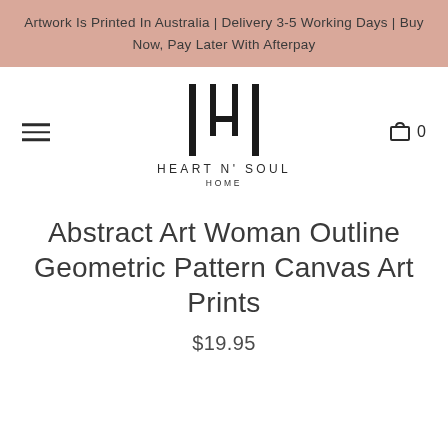Artwork Is Printed In Australia | Delivery 3-5 Working Days | Buy Now, Pay Later With Afterpay
[Figure (logo): Heart N' Soul Home logo — stylized H letterform with vertical bars, brand name below]
Abstract Art Woman Outline Geometric Pattern Canvas Art Prints
$19.95